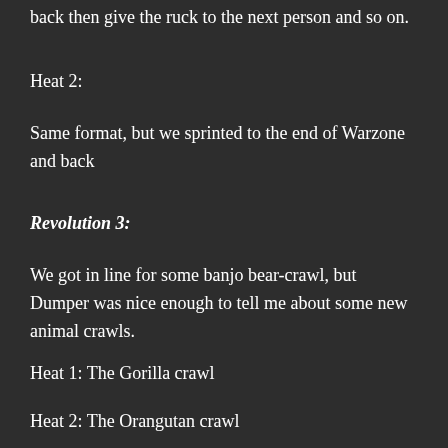back then give the ruck to the next person and so on.
Heat 2:
Same format, but we sprinted to the end of Warzone and back
Revolution 3:
We got in line for some banjo bear-crawl, but Dumper was nice enough to tell me about some new animal crawls.
Heat 1: The Gorilla crawl
Heat 2: The Orangutan crawl